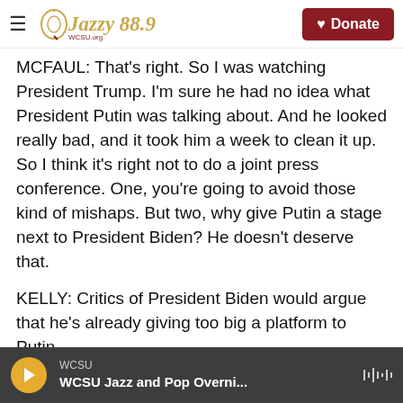Jazzy 88.9 | Donate
MCFAUL: That's right. So I was watching President Trump. I'm sure he had no idea what President Putin was talking about. And he looked really bad, and it took him a week to clean it up. So I think it's right not to do a joint press conference. One, you're going to avoid those kind of mishaps. But two, why give Putin a stage next to President Biden? He doesn't deserve that.
KELLY: Critics of President Biden would argue that he's already giving too big a platform to Putin...
MCFAUL: Right.
WCSU | WCSU Jazz and Pop Overni...